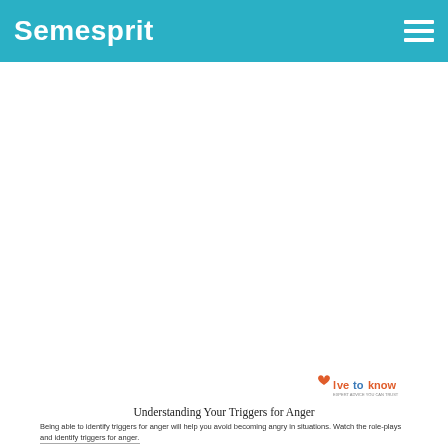Semesprit
[Figure (logo): lovetoknow logo with heart icon in orange/red and blue text]
Understanding Your Triggers for Anger
Being able to identify triggers for anger will help you avoid becoming angry in situations. Watch the role-plays and identify triggers for anger.